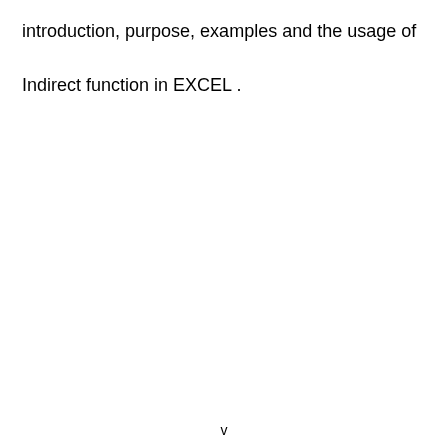introduction, purpose, examples and the usage of Indirect function in EXCEL .
v